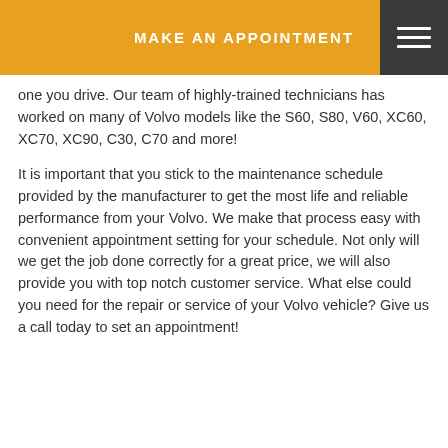MAKE AN APPOINTMENT
one you drive. Our team of highly-trained technicians has worked on many of Volvo models like the S60, S80, V60, XC60, XC70, XC90, C30, C70 and more!
It is important that you stick to the maintenance schedule provided by the manufacturer to get the most life and reliable performance from your Volvo. We make that process easy with convenient appointment setting for your schedule. Not only will we get the job done correctly for a great price, we will also provide you with top notch customer service. What else could you need for the repair or service of your Volvo vehicle? Give us a call today to set an appointment!